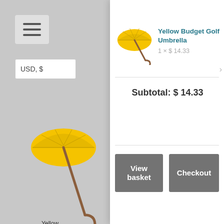[Figure (screenshot): Left gray background panel showing hamburger menu icon, USD currency selector, and partial yellow umbrella product image with 'Yellow Um...' text and strikethrough price '$16.3...']
[Figure (photo): Yellow golf umbrella product image shown in cart dropdown]
Yellow Budget Golf Umbrella
1 × $ 14.33
Subtotal: $ 14.33
View basket
Checkout